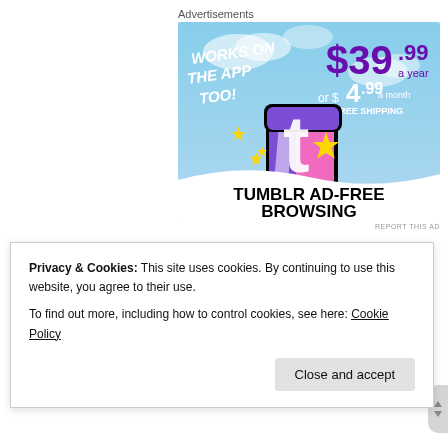Advertisements
[Figure (infographic): Tumblr Ad-Free Browsing advertisement banner. Sky blue background with clouds. Text reads: WORKS ON THE APP TOO! (white bold italic). $39.99 a year or $4.99 a month + FREE SHIPPING (purple/white). Tumblr 't' logo in pink/purple with sparkle stars. Bottom white wave with text TUMBLR AD-FREE BROWSING in bold black.]
REPORT THIS AD
Privacy & Cookies: This site uses cookies. By continuing to use this website, you agree to their use.
To find out more, including how to control cookies, see here: Cookie Policy
Close and accept